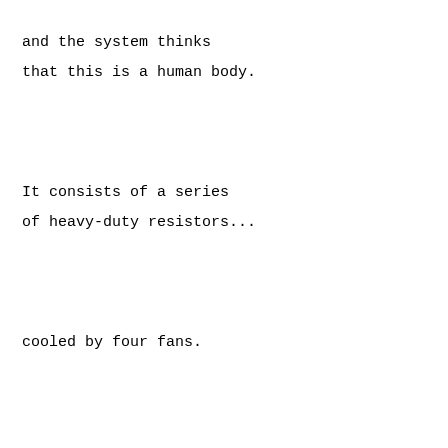and the system thinks
that this is a human body.
It consists of a series
of heavy-duty resistors...
cooled by four fans.